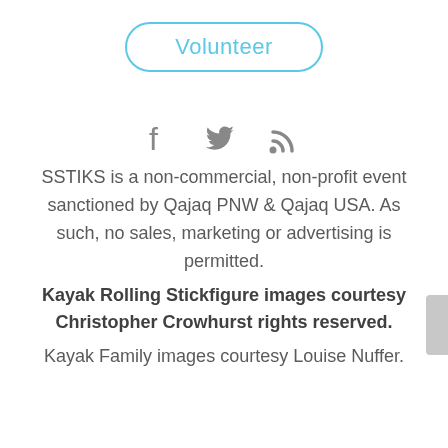Volunteer
[Figure (illustration): Three social media icons: Facebook (f), Twitter (bird), RSS feed]
SSTIKS is a non-commercial, non-profit event sanctioned by Qajaq PNW & Qajaq USA. As such, no sales, marketing or advertising is permitted.
Kayak Rolling Stickfigure images courtesy Christopher Crowhurst rights reserved.
Kayak Family images courtesy Louise Nuffer.